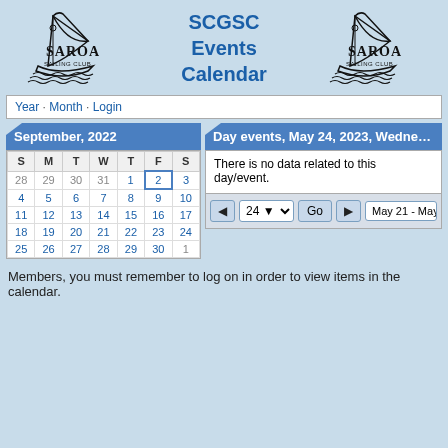[Figure (logo): Saroa Sailing Club logo (left)]
SCGSC Events Calendar
[Figure (logo): Saroa Sailing Club logo (right)]
Year · Month · Login
| S | M | T | W | T | F | S |
| --- | --- | --- | --- | --- | --- | --- |
| 28 | 29 | 30 | 31 | 1 | 2 | 3 |
| 4 | 5 | 6 | 7 | 8 | 9 | 10 |
| 11 | 12 | 13 | 14 | 15 | 16 | 17 |
| 18 | 19 | 20 | 21 | 22 | 23 | 24 |
| 25 | 26 | 27 | 28 | 29 | 30 | 1 |
There is no data related to this day/event.
Members, you must remember to log on in order to view items in the calendar.